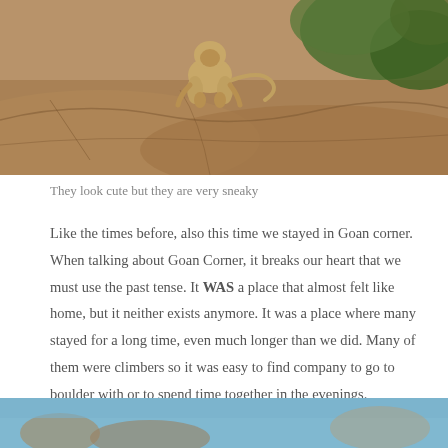[Figure (photo): A monkey sitting on reddish-brown rocky terrain with green trees visible in the background upper right]
They look cute but they are very sneaky
Like the times before, also this time we stayed in Goan corner. When talking about Goan Corner, it breaks our heart that we must use the past tense. It WAS a place that almost felt like home, but it neither exists anymore. It was a place where many stayed for a long time, even much longer than we did. Many of them were climbers so it was easy to find company to go to boulder with or to spend time together in the evenings.
[Figure (photo): Bottom partial photo showing a blue sky and rocks, partially visible]